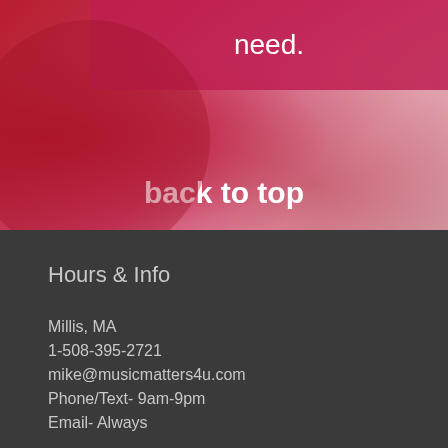need.
back to top
Hours & Info
Millis, MA
1-508-395-2721
mike@musicmatters4u.com
Phone/Text- 9am-9pm
Email- Always